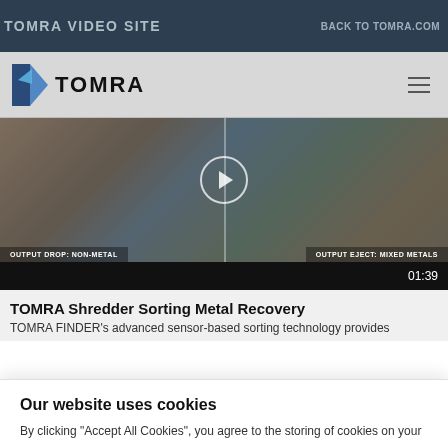TOMRA VIDEO SITE
BACK TO TOMRA.COM
[Figure (logo): TOMRA logo with angular K-shaped icon in blue and dark colors, followed by bold text TOMRA]
[Figure (screenshot): Video thumbnail showing shredded metal materials split into two panels: left shows OUTPUT DROP: NON-METAL, right shows OUTPUT EJECT: MIXED METALS, with a circular play button overlay and timecode 01:39]
TOMRA Shredder Sorting Metal Recovery
TOMRA FINDER's advanced sensor-based sorting technology provides
Our website uses cookies
By clicking “Accept All Cookies”, you agree to the storing of cookies on your